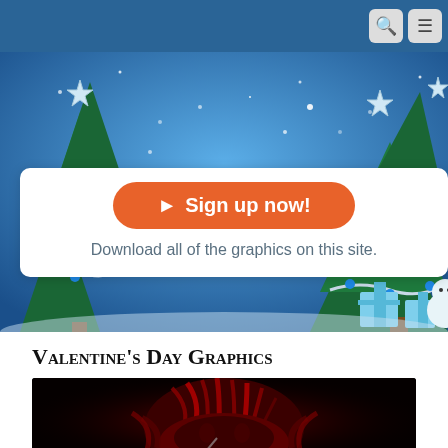Navigation bar with search and menu icons
[Figure (photo): Christmas holiday banner with decorated trees, blue and silver ornaments, stars, gift boxes and snowman on a blue snowy background]
Sign up now!
Download all of the graphics on this site.
Valentine's Day Graphics
[Figure (photo): Dark Valentine's day graphic featuring a red and black fantasy creature or devil with red fur/feathers and a red halo/horn on black background]